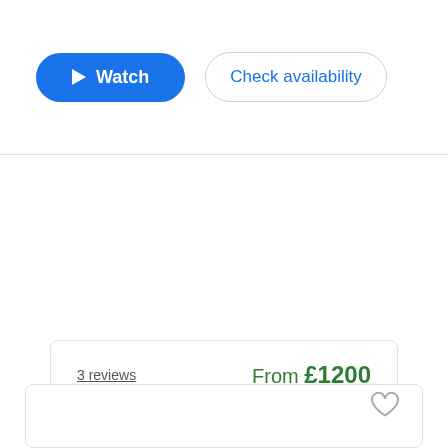[Figure (screenshot): Two buttons: a blue 'Watch' button with a play icon, and a white 'Check availability' button with blue text]
3 reviews
From £1200
Billy Thompson Gypsy Style
View profile
Klezmer band  Bala
As happy performing at large music festivals as we are playing for small private functions...
[Figure (other): Bottom card with heart/favourite icon in top-right corner]